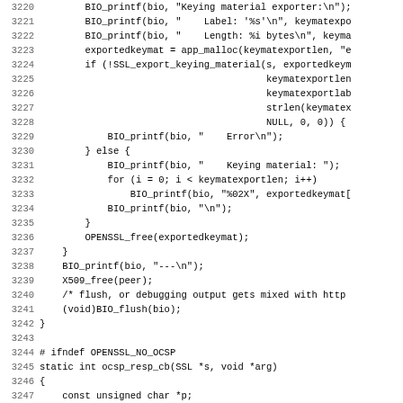[Figure (screenshot): Source code listing (C language) showing lines 3220-3251 of an OpenSSL-related program. Line numbers appear on the left in gray, code on the right in monospace font. Code includes BIO_printf calls for keying material export, SSL_export_keying_material, OPENSSL_free, BIO_printf for dashes, X509_free, BIO_flush, #ifndef OPENSSL_NO_OCSP, static int ocsp_resp_cb function definition, variable declarations, and SSL_get_tlsext_status_ocsp_resp call.]